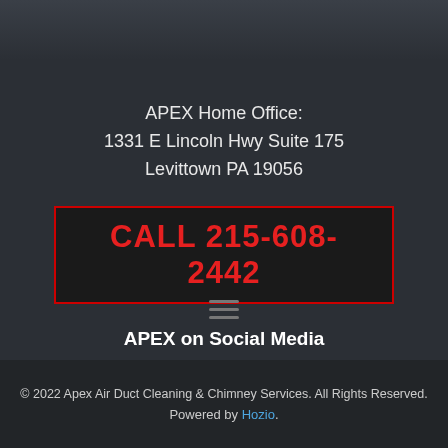APEX Home Office:
1331 E Lincoln Hwy Suite 175
Levittown PA 19056
CALL 215-608-2442
APEX on Social Media
[Figure (other): Social media icons: Facebook and LinkedIn buttons]
[Figure (other): Hamburger menu icon (three horizontal lines)]
© 2022 Apex Air Duct Cleaning & Chimney Services. All Rights Reserved.
Powered by Hozio.